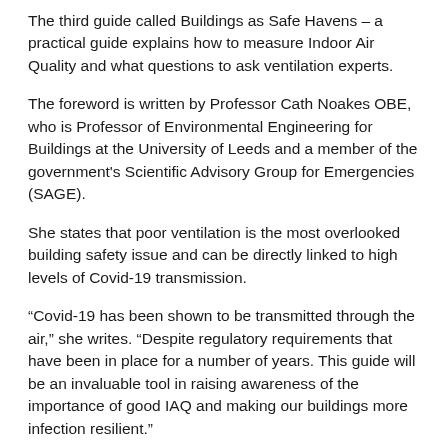The third guide called Buildings as Safe Havens – a practical guide explains how to measure Indoor Air Quality and what questions to ask ventilation experts.
The foreword is written by Professor Cath Noakes OBE, who is Professor of Environmental Engineering for Buildings at the University of Leeds and a member of the government's Scientific Advisory Group for Emergencies (SAGE).
She states that poor ventilation is the most overlooked building safety issue and can be directly linked to high levels of Covid-19 transmission.
“Covid-19 has been shown to be transmitted through the air,” she writes. “Despite regulatory requirements that have been in place for a number of years. This guide will be an invaluable tool in raising awareness of the importance of good IAQ and making our buildings more infection resilient.”
The new BESA guide provides a step-by-step strategy for monitoring and maintaining good IAQ in offices, schools, and public buildings and provides advice and strategies for dealing with ventilation problems.